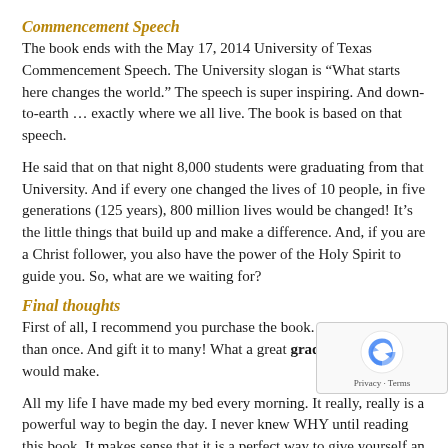Commencement Speech
The book ends with the May 17, 2014 University of Texas Commencement Speech. The University slogan is “What starts here changes the world.” The speech is super inspiring. And down-to-earth … exactly where we all live. The book is based on that speech.
He said that on that night 8,000 students were graduating from that University. And if every one changed the lives of 10 people, in five generations (125 years), 800 million lives would be changed! It’s the little things that build up and make a difference. And, if you are a Christ follower, you also have the power of the Holy Spirit to guide you. So, what are we waiting for?
Final thoughts
First of all, I recommend you purchase the book. And read it more than once. And gift it to many! What a great graduation gift it would make.
All my life I have made my bed every morning. It really, really is a powerful way to begin the day. I never knew WHY until reading this book. It makes sense that it is a perfect way to give yourself an immediate sense of order and accomplishment. God is a God of order. This is a way to reflect Him from the start of your day.